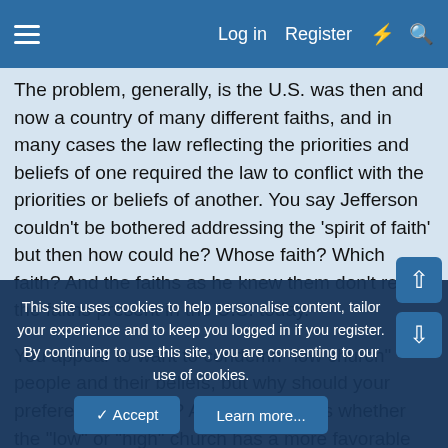Log in  Register
The problem, generally, is the U.S. was then and now a country of many different faiths, and in many cases the law reflecting the priorities and beliefs of one required the law to conflict with the priorities or beliefs of another. You say Jefferson couldn't be bothered addressing the 'spirit of faith' but then how could he? Whose faith? Which faith? And the faiths as he knew them don't reflect the faiths present in the U.S. today.
You appear to want to condemn "low church" people and their beliefs, but why should your preferences matter? And who decides whether the "low" or "high" church has a more favorable set of sacraments versus some standard that you can't define?
The principle in this country is simple enough. All faiths are welcome and no faith should have the 'right' or authority to
This site uses cookies to help personalise content, tailor your experience and to keep you logged in if you register.
By continuing to use this site, you are consenting to our use of cookies.